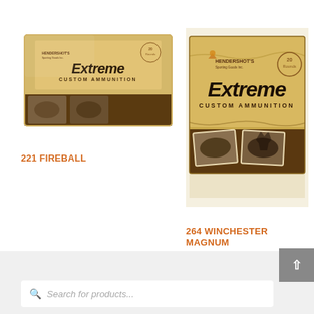[Figure (photo): Hendershot's Extreme Custom Ammunition box, 20 Rounds, small format, golden/tan box with deer image]
221 FIREBALL
[Figure (photo): Hendershot's Extreme Custom Ammunition box, 20 Rounds, larger format, golden/tan box with deer image, displayed prominently]
264 WINCHESTER MAGNUM
$ 74.99 – $ 109.99
Search for products...